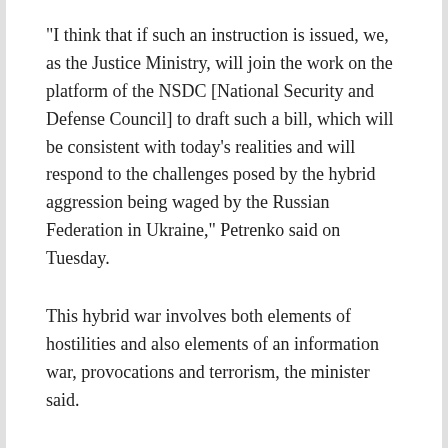"I think that if such an instruction is issued, we, as the Justice Ministry, will join the work on the platform of the NSDC [National Security and Defense Council] to draft such a bill, which will be consistent with today's realities and will respond to the challenges posed by the hybrid aggression being waged by the Russian Federation in Ukraine," Petrenko said on Tuesday.
This hybrid war involves both elements of hostilities and also elements of an information war, provocations and terrorism, the minister said.